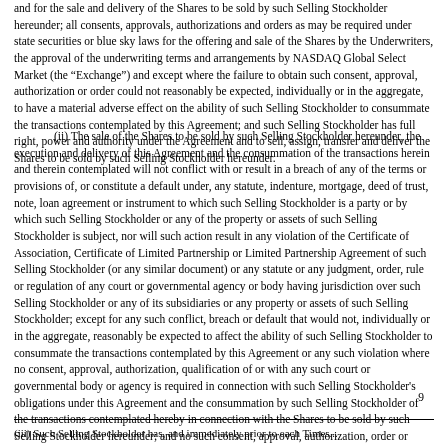and for the sale and delivery of the Shares to be sold by such Selling Stockholder hereunder; all consents, approvals, authorizations and orders as may be required under state securities or blue sky laws for the offering and sale of the Shares by the Underwriters, the approval of the underwriting terms and arrangements by NASDAQ Global Select Market (the "Exchange") and except where the failure to obtain such consent, approval, authorization or order could not reasonably be expected, individually or in the aggregate, to have a material adverse effect on the ability of such Selling Stockholder to consummate the transactions contemplated by this Agreement; and such Selling Stockholder has full right, power and authority under the Agreement and to sell, assign, transfer and deliver the Shares to be sold by such Selling Stockholder hereunder.
(ii) The sale of the Shares to be sold by such Selling Stockholder hereunder, the execution and delivery of this Agreement and the consummation of the transactions herein and therein contemplated will not conflict with or result in a breach of any of the terms or provisions of, or constitute a default under, any statute, indenture, mortgage, deed of trust, note, loan agreement or instrument to which such Selling Stockholder is a party or by which such Selling Stockholder or any of the property or assets of such Selling Stockholder is subject, nor will such action result in any violation of the Certificate of Association, Certificate of Limited Partnership or Limited Partnership Agreement of such Selling Stockholder (or any similar document) or any statute or any judgment, order, rule or regulation of any court or governmental agency or body having jurisdiction over such Selling Stockholder or any of its subsidiaries or any property or assets of such Selling Stockholder; except for any such conflict, breach or default that would not, individually or in the aggregate, reasonably be expected to affect the ability of such Selling Stockholder to consummate the transactions contemplated by this Agreement or any such violation where no consent, approval, authorization, qualification of or with any such court or governmental body or agency is required in connection with such Selling Stockholder's obligations under this Agreement and the consummation by such Selling Stockholder of the transactions contemplated hereby in connection with the Shares to be sold by such Selling Stockholder hereunder; and no such consent, approval, authorization, order or qualification; consents, approvals, authorizations, orders, registrations or qualifications as may be required under the Securities Act and the Exchange Act in connection with the purchase and distribution of the Shares by the Underwriters or such as have already been obtained; and no such action would adversely affect the validity of the Shares to be sold by such Selling Stockholder or reasonably be expected to affect the ability of such Selling Stockholder to consummate the transactions contemplated by this Agreement.
9
(iii) Such Selling Stockholder has, and immediately prior to each Time...